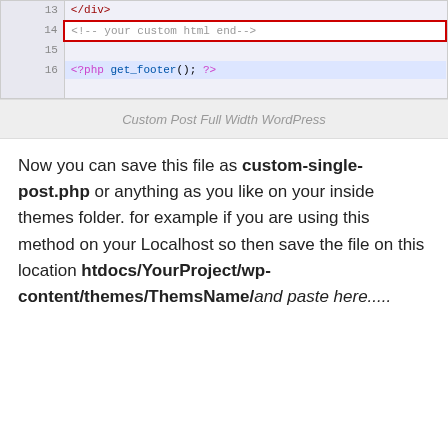[Figure (screenshot): Code editor screenshot showing lines 13-16 of a PHP/HTML file. Line 14 shows '<!-- your custom html end-->' highlighted with a red border box. Line 16 shows '<?php get_footer(); ?>' highlighted in blue.]
Custom Post Full Width WordPress
Now you can save this file as custom-single-post.php or anything as you like on your inside themes folder. for example if you are using this method on your Localhost so then save the file on this location htdocs/YourProject/wp-content/themes/ThemsName/ and paste here.....